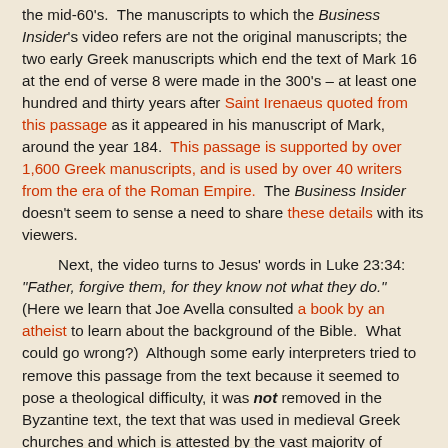the mid-60's. The manuscripts to which the Business Insider's video refers are not the original manuscripts; the two early Greek manuscripts which end the text of Mark 16 at the end of verse 8 were made in the 300's – at least one hundred and thirty years after Saint Irenaeus quoted from this passage as it appeared in his manuscript of Mark, around the year 184. This passage is supported by over 1,600 Greek manuscripts, and is used by over 40 writers from the era of the Roman Empire. The Business Insider doesn't seem to sense a need to share these details with its viewers.

Next, the video turns to Jesus' words in Luke 23:34: "Father, forgive them, for they know not what they do." (Here we learn that Joe Avella consulted a book by an atheist to learn about the background of the Bible. What could go wrong?) Although some early interpreters tried to remove this passage from the text because it seemed to pose a theological difficulty, it was not removed in the Byzantine text, the text that was used in medieval Greek churches and which is attested by the vast majority of Greek manuscripts. Nor was it removed in the Vulgate, the text that was used in the Latin-speaking churches. So: what the